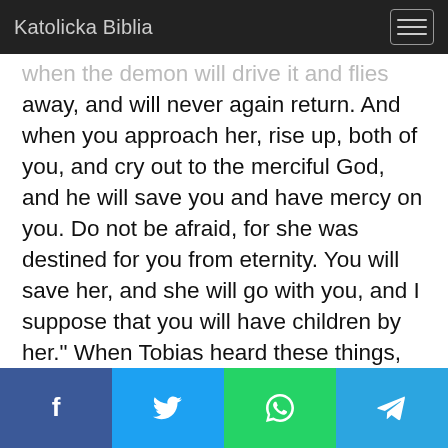Katolicka Biblia
when the demon will drive it and flies away, and will never again return. And when you approach her, rise up, both of you, and cry out to the merciful God, and he will save you and have mercy on you. Do not be afraid, for she was destined for you from eternity. You will save her, and she will go with you, and I suppose that you will have children by her." When Tobias heard these things, he fell in love with her and yearned deeply for her.
Facebook Twitter WhatsApp Telegram